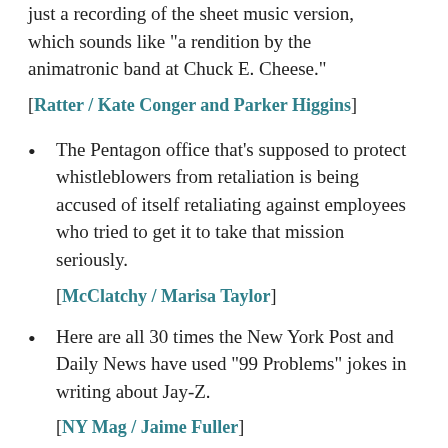just a recording of the sheet music version, which sounds like "a rendition by the animatronic band at Chuck E. Cheese."
[Ratter / Kate Conger and Parker Higgins]
The Pentagon office that's supposed to protect whistleblowers from retaliation is being accused of itself retaliating against employees who tried to get it to take that mission seriously.
[McClatchy / Marisa Taylor]
Here are all 30 times the New York Post and Daily News have used "99 Problems" jokes in writing about Jay-Z.
[NY Mag / Jaime Fuller]
5. Verbatim
"The Chicago police department operates an off...